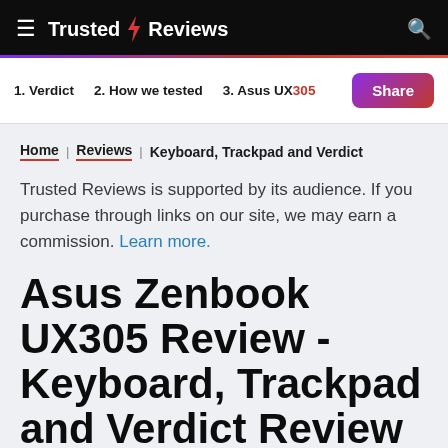Trusted Reviews
1. Verdict  2. How we tested  3. Asus UX305  Share
Home | Reviews | Keyboard, Trackpad and Verdict
Trusted Reviews is supported by its audience. If you purchase through links on our site, we may earn a commission. Learn more.
Asus Zenbook UX305 Review - Keyboard, Trackpad and Verdict Review